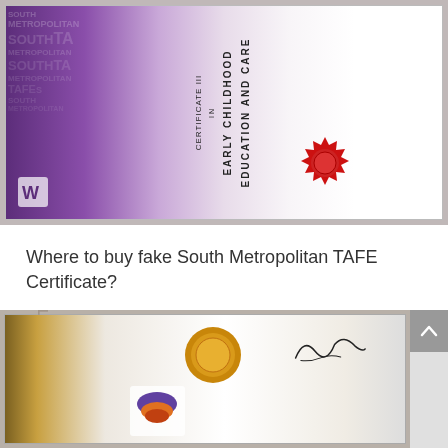[Figure (photo): Photo of a South Metropolitan TAFE Certificate III in Early Childhood Education and Care, shown landscape orientation with purple/gradient left side, red wax seal visible]
Where to buy fake South Metropolitan TAFE Certificate?
[Figure (photo): Photo of a Teknologi Mara (UiTM) certificate with gold seal and signature, shown landscape orientation with purple/orange logo at bottom left]